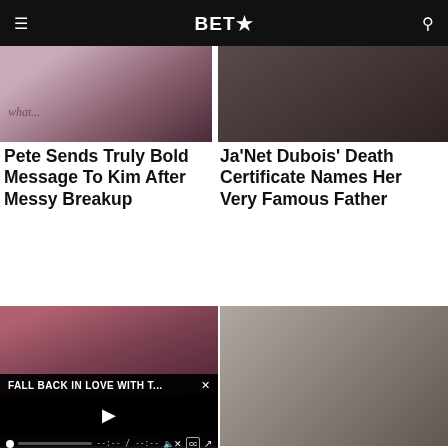BET★
[Figure (photo): Partial image of a woman, top of page left column]
[Figure (photo): Dark-toned image top of page right column]
Pete Sends Truly Bold Message To Kim After Messy Breakup
Ja'Net Dubois' Death Certificate Names Her Very Famous Father
[Figure (photo): Person wearing a red cap, bottom left]
[Figure (screenshot): Video player overlay with title FALL BACK IN LOVE WITH T... and playback controls]
[Figure (photo): Portrait of rapper J $Tash, bottom right]
Rapper J $Tash Found Dead After Allegedly Killing Woman